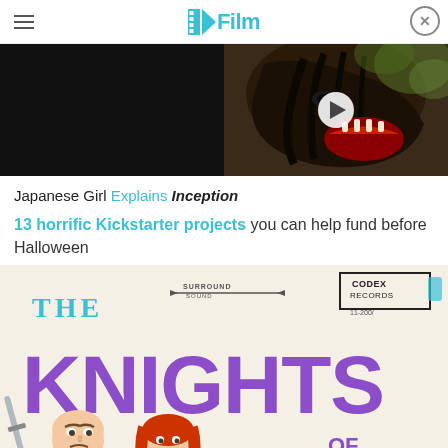/Film
[Figure (screenshot): Video player showing a dark creature/horse with open mouth, play button overlay, left half black]
Japanese Girl Explains Inception
13 horrific Kickstarter projects you can help fund before Halloween
[Figure (illustration): The Knights of Good album/poster art from Codex Records, showing cartoon characters with KNIGHTS text in purple]